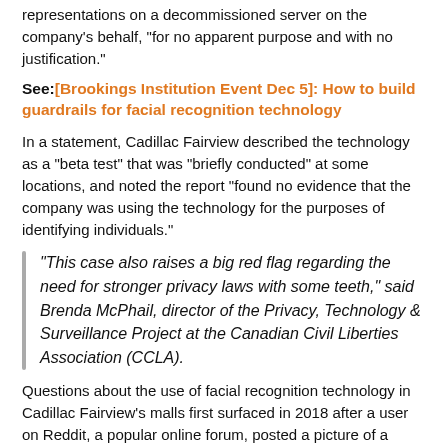found that Anonymous Video Analytics kept 5 million of these facial representations on a decommissioned server on the company's behalf, "for no apparent purpose and with no justification."
See: [Brookings Institution Event Dec 5]: How to build guardrails for facial recognition technology
In a statement, Cadillac Fairview described the technology as a “beta test” that was “briefly conducted” at some locations, and noted the report “found no evidence that the company was using the technology for the purposes of identifying individuals.”
“This case also raises a big red flag regarding the need for stronger privacy laws with some teeth,” said Brenda McPhail, director of the Privacy, Technology & Surveillance Project at the Canadian Civil Liberties Association (CCLA).
Questions about the use of facial recognition technology in Cadillac Fairview's malls first surfaced in 2018 after a user on Reddit, a popular online forum, posted a picture of a malfunctioning wayfinding